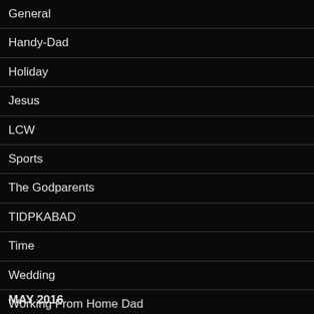General
Handy-Dad
Holiday
Jesus
LCW
Sports
The Godparents
TIDPKABAD
Time
Wedding
Working From Home Dad
MAY 2016